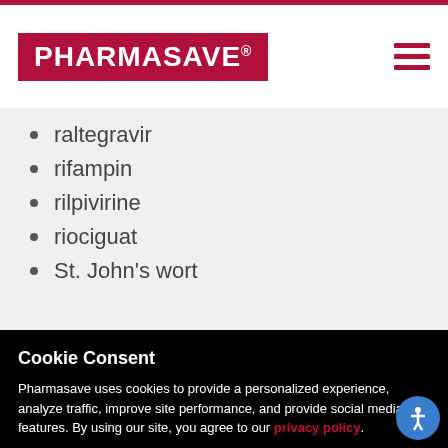PHARMASAVE
raltegravir
rifampin
rilpivirine
riociguat
St. John's wort
Cookie Consent
Pharmasave uses cookies to provide a personalized experience, analyze traffic, improve site performance, and provide social media features. By using our site, you agree to our privacy policy.
CLOSE